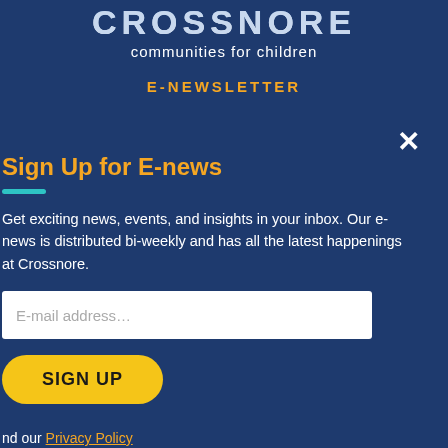CROSSNORE communities for children
E-NEWSLETTER
Sign Up for E-news
Get exciting news, events, and insights in your inbox. Our e-news is distributed bi-weekly and has all the latest happenings at Crossnore.
E-mail address…
SIGN UP
and our Privacy Policy